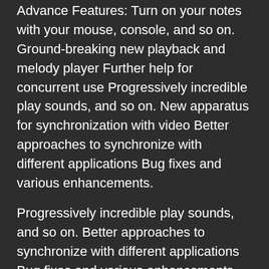Advance Features: Turn on your notes with your mouse, console, and so on. Ground-breaking new playback and melody player Further help for concurrent use Progressively incredible play sounds, and so on. New apparatus for synchronization with video Better approaches to synchronize with different applications Bug fixes and various enhancements.
Progressively incredible play sounds, and so on. Better approaches to synchronize with different applications Bug fixes and various enhancements. How to apply Crack? Mood killer Internet access before continuing with the establishment.
1/4/2021 moon
Download Link Summary. Iconic One Theme Powered by Wordpress.When my wife developed an emergency medical problem and we had to delay our trip by 2 days